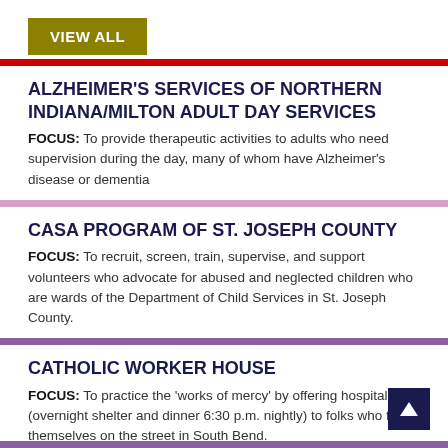VIEW ALL
ALZHEIMER'S SERVICES OF NORTHERN INDIANA/MILTON ADULT DAY SERVICES
FOCUS: To provide therapeutic activities to adults who need supervision during the day, many of whom have Alzheimer's disease or dementia
CASA PROGRAM OF ST. JOSEPH COUNTY
FOCUS: To recruit, screen, train, supervise, and support volunteers who advocate for abused and neglected children who are wards of the Department of Child Services in St. Joseph County.
CATHOLIC WORKER HOUSE
FOCUS: To practice the 'works of mercy' by offering hospitality (overnight shelter and dinner 6:30 p.m. nightly) to folks who find themselves on the street in South Bend.